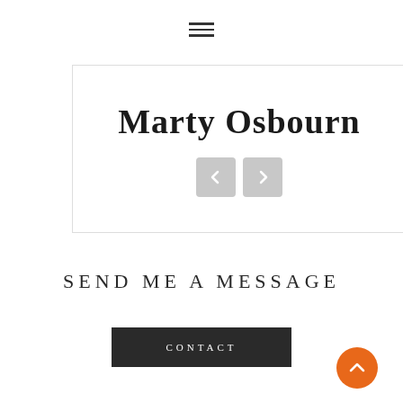[Figure (screenshot): Hamburger navigation menu icon (three horizontal lines) centered at top of page]
[Figure (screenshot): White bordered carousel/slider box containing handwritten-style text 'Marty Osbourn' with left and right navigation arrow buttons below]
SEND ME A MESSAGE
[Figure (screenshot): Dark button labeled CONTACT centered below the section header]
[Figure (screenshot): Orange circular back-to-top button with upward chevron arrow, positioned bottom right]